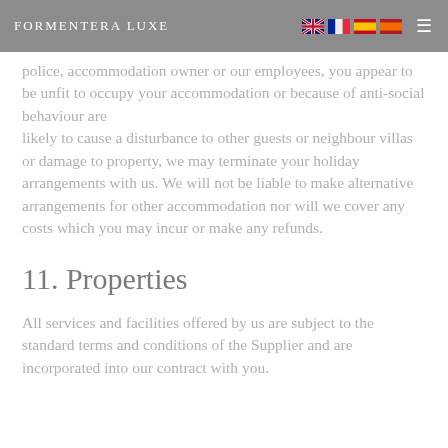FORMENTERA LUXE
police, accommodation owner or our employees, you appear to be unfit to occupy your accommodation or because of anti-social behaviour are likely to cause a disturbance to other guests or neighbour villas or damage to property, we may terminate your holiday arrangements with us. We will not be liable to make alternative arrangements for other accommodation nor will we cover any costs which you may incur or make any refunds.
11. Properties
All services and facilities offered by us are subject to the standard terms and conditions of the Supplier and are incorporated into our contract with you.